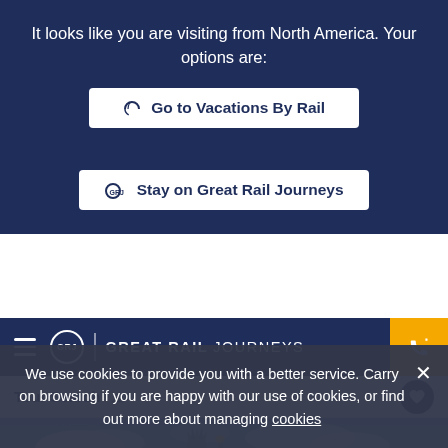It looks like you are visiting from North America. Your options are:
Go to Vacations By Rail
Stay on Great Rail Journeys
GREAT RAIL JOURNEYS
Tour Search
[Figure (photo): Statue of Liberty against a blue sky with clouds]
We use cookies to provide you with a better service. Carry on browsing if you are happy with our use of cookies, or find out more about managing cookies